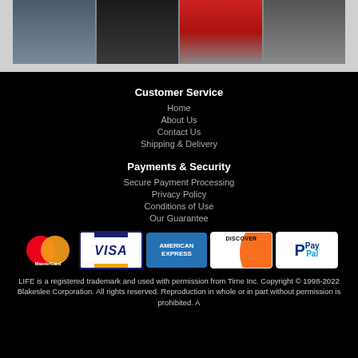[Figure (photo): Strip of magazine covers including film and entertainment images]
Customer Service
Home
About Us
Contact Us
Shipping & Delivery
Payments & Security
Secure Payment Processing
Privacy Policy
Conditions of Use
Our Guarantee
[Figure (logo): Payment logos: MasterCard, Visa, American Express, Discover, PayPal]
LIFE is a registered trademark and used with permission from Time Inc. Copyright © 1998-2022 Blakeslee Corporation. All rights reserved. Reproduction in whole or in part without permission is prohibited. A